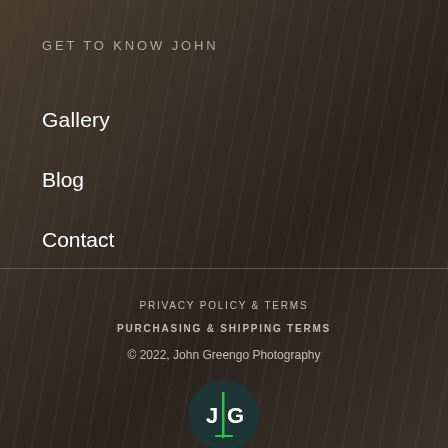GET TO KNOW JOHN
Gallery
Blog
Contact
PRIVACY POLICY & TERMS
PURCHASING & SHIPPING TERMS
© 2022, John Greengo Photography
[Figure (logo): John Greengo Photography logo — dark teal circle with white letters J and G separated by a green vertical bar]